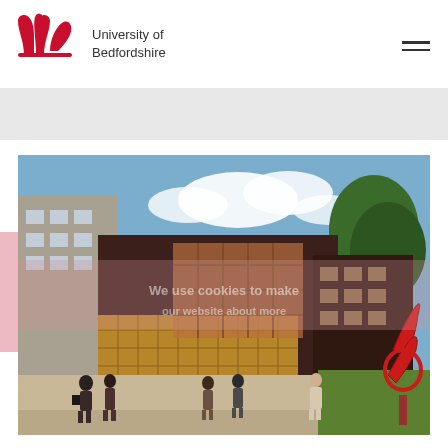[Figure (logo): University of Bedfordshire logo with red tulip/leaf icon and institution name]
[Figure (photo): University of Bedfordshire campus building exterior with students walking, modern architecture with large glass windows and golden cladding, sculpture visible on right, trees in background]